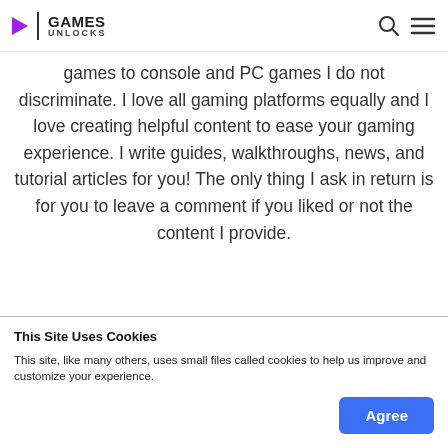GAMES UNLOCKS
games to console and PC games I do not discriminate. I love all gaming platforms equally and I love creating helpful content to ease your gaming experience. I write guides, walkthroughs, news, and tutorial articles for you! The only thing I ask in return is for you to leave a comment if you liked or not the content I provide.
This Site Uses Cookies
This site, like many others, uses small files called cookies to help us improve and customize your experience.